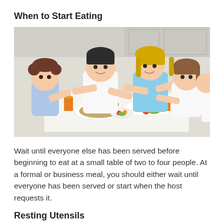When to Start Eating
[Figure (photo): A family of four — a father, mother, and two children — sitting around a white table eating a meal together with various dishes of fruits and vegetables in front of them.]
Wait until everyone else has been served before beginning to eat at a small table of two to four people. At a formal or business meal, you should either wait until everyone has been served or start when the host requests it.
Resting Utensils